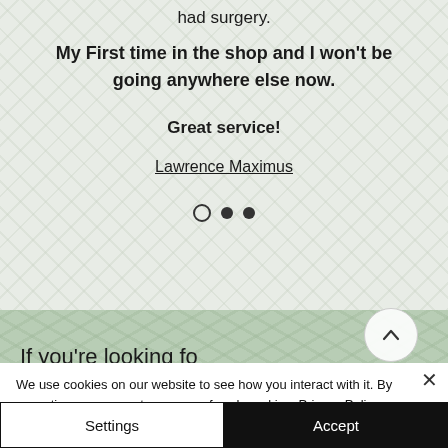had surgery.
My First time in the shop and I won't be going anywhere else now.
Great service!
Lawrence Maximus
[Figure (other): Carousel navigation dots: one open circle and two filled circles]
[Figure (other): Green textured crocodile-skin background section with partially visible text: If you're looking fo... and a circular scroll-up arrow button]
We use cookies on our website to see how you interact with it. By accepting, you agree to our use of such cookies. Privacy Policy
Settings
Accept